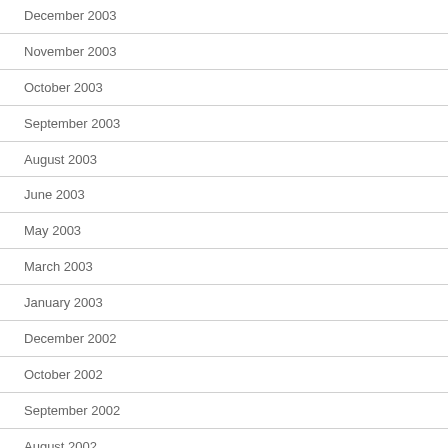December 2003
November 2003
October 2003
September 2003
August 2003
June 2003
May 2003
March 2003
January 2003
December 2002
October 2002
September 2002
August 2002
May 2002